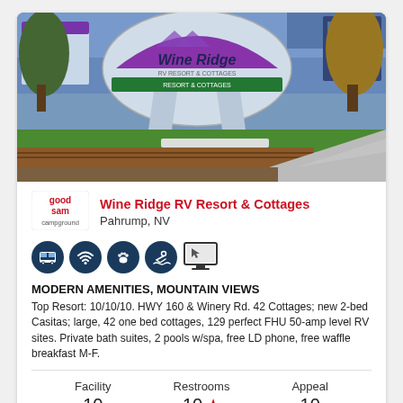[Figure (photo): Outdoor photo of Wine Ridge RV Resort entrance sign with buildings, trees, grass, and a road in the background]
Wine Ridge RV Resort & Cottages
Pahrump, NV
[Figure (infographic): Amenity icons: RV/bus, wifi, pets, swimming, and monitor/TV icons in dark navy circles]
MODERN AMENITIES, MOUNTAIN VIEWS
Top Resort: 10/10/10. HWY 160 & Winery Rd. 42 Cottages; new 2-bed Casitas; large, 42 one bed cottages, 129 perfect FHU 50-amp level RV sites. Private bath suites, 2 pools w/spa, free LD phone, free waffle breakfast M-F.
| Facility | Restrooms | Appeal |
| --- | --- | --- |
| 10 | 10 ★ | 10 |